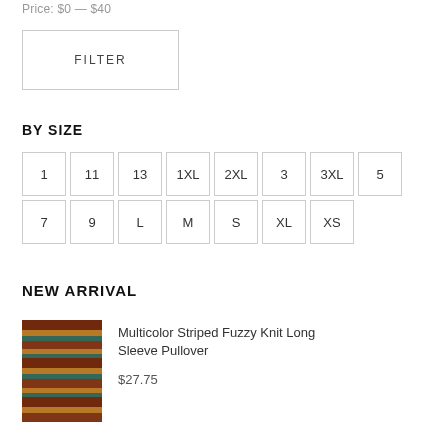Price: $0 — $40
FILTER
BY SIZE
1
11
13
1XL
2XL
3
3XL
5
7
9
L
M
S
XL
XS
NEW ARRIVAL
[Figure (photo): Multicolor striped fuzzy knit pullover sweater with brown, yellow and teal stripes]
Multicolor Striped Fuzzy Knit Long Sleeve Pullover
$27.75